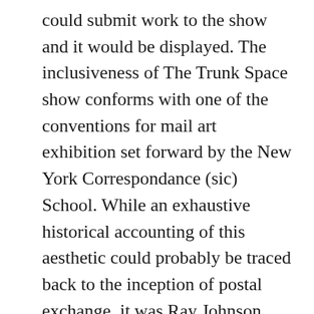could submit work to the show and it would be displayed. The inclusiveness of The Trunk Space show conforms with one of the conventions for mail art exhibition set forward by the New York Correspondance (sic) School. While an exhaustive historical accounting of this aesthetic could probably be traced back to the inception of postal exchange, it was Ray Johnson who formalized the practice by establishing the school in the late 1960's. NYCS participants deployed their methodology as a medium: if an object passed through the postal system it was considered mail art. Johnson further complicated this practice with the nascent collages he sent through the mail to other artists. These correspondences with